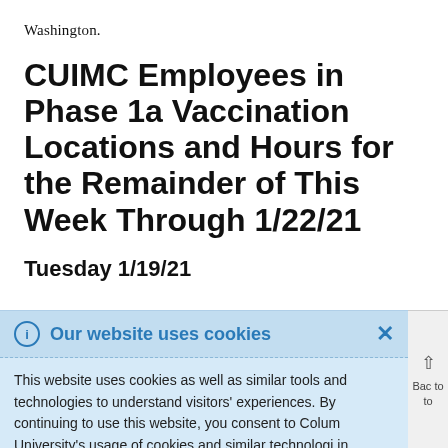Washington.
CUIMC Employees in Phase 1a Vaccination Locations and Hours for the Remainder of This Week Through 1/22/21
Tuesday 1/19/21
Our website uses cookies
This website uses cookies as well as similar tools and technologies to understand visitors' experiences. By continuing to use this website, you consent to Columbia University's usage of cookies and similar technologies in accordance with the Columbia University Website Cookie Notice.